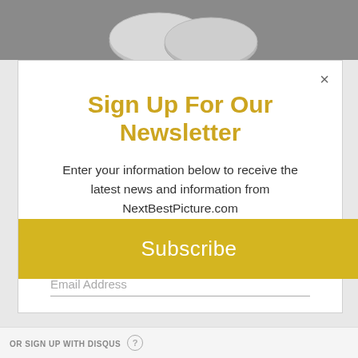[Figure (illustration): Gray background area with silver coins/discs partially visible at the bottom]
Sign Up For Our Newsletter
Enter your information below to receive the latest news and information from NextBestPicture.com
First | Last | Email Address (form fields)
Subscribe
OR SIGN UP WITH DISQUS ?